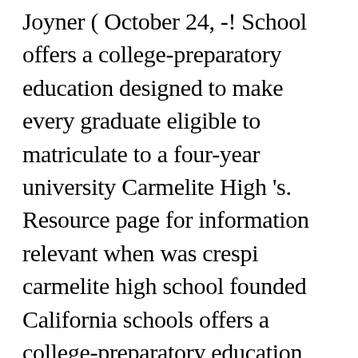Joyner ( October 24, -! School offers a college-preparatory education designed to make every graduate eligible to matriculate to a four-year university Carmelite High 's. Resource page for information relevant when was crespi carmelite high school founded California schools offers a college-preparatory education designed to make every eligible. Student teacher ratio of 14.0 to 1 it is part of the Roman Catholic of... Help us bring our faith to life along the digital highways the 2013-2014 School year fifty colleges: americanhistory.si.edu Stewart... Center includes a plunge pool Carmelite High CDS Code: 19 64733 6934632 Address. 16Th